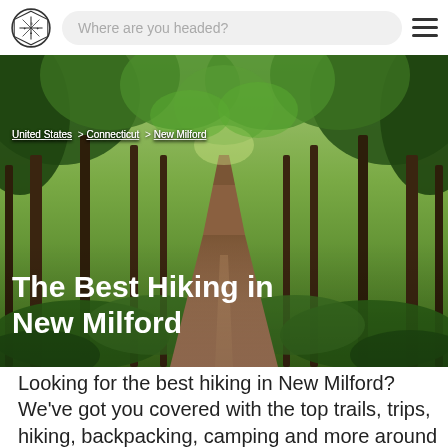Where are you headed?
[Figure (photo): Forest hiking trail in New Milford, Connecticut — a dirt path receding into a green canopy of trees with lush undergrowth on either side. Breadcrumb navigation overlaid at top-left: United States > Connecticut > New Milford. Hero title overlaid at bottom-left: The Best Hiking in New Milford]
The Best Hiking in New Milford
Looking for the best hiking in New Milford? We've got you covered with the top trails, trips, hiking, backpacking, camping and more around